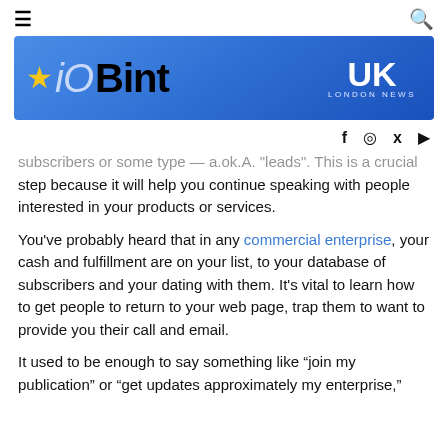☰ [menu icon] | [search icon]
[Figure (logo): iOBint UK London News banner logo on blue gradient background with gold star]
[Figure (infographic): Social media icons row: Facebook, Instagram, Twitter, YouTube]
subscribers or some type — a.ok.A. 'leads'. This is a crucial step because it will help you continue speaking with people interested in your products or services.
You've probably heard that in any commercial enterprise, your cash and fulfillment are on your list, to your database of subscribers and your dating with them. It's vital to learn how to get people to return to your web page, trap them to want to provide you their call and email.
It used to be enough to say something like "join my publication" or "get updates approximately my enterprise,"